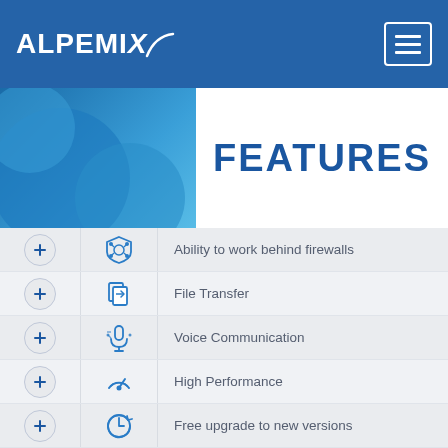[Figure (logo): Alpemix logo — white text on blue header background with hamburger menu icon on the right]
FEATURES
Ability to work behind firewalls
File Transfer
Voice Communication
High Performance
Free upgrade to new versions